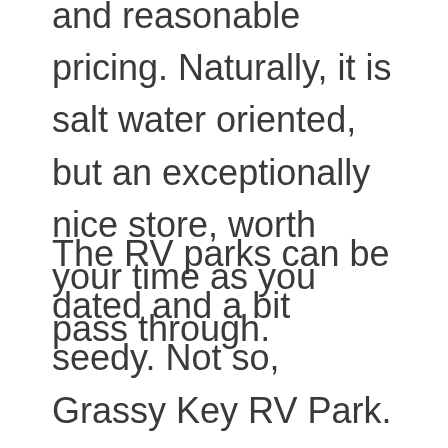and reasonable pricing. Naturally, it is salt water oriented, but an exceptionally nice store, worth your time as you pass through.
The RV parks can be dated and a bit seedy. Not so, Grassy Key RV Park. This is a crisp, immaculate, small and convenient park, located adjacent to Highway 1, the traffic artery of the keys. The landscaping